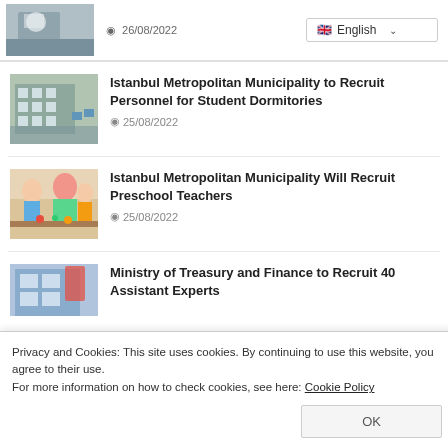[Figure (photo): Blurred photo of a person at a desk, partial view]
26/08/2022
[Figure (photo): Building exterior with blue flags]
Istanbul Metropolitan Municipality to Recruit Personnel for Student Dormitories
25/08/2022
[Figure (photo): Children and teacher doing a craft activity]
Istanbul Metropolitan Municipality Will Recruit Preschool Teachers
25/08/2022
[Figure (photo): Building exterior partially visible]
Ministry of Treasury and Finance to Recruit 40 Assistant Experts
Privacy and Cookies: This site uses cookies. By continuing to use this website, you agree to their use.
For more information on how to check cookies, see here: Cookie Policy